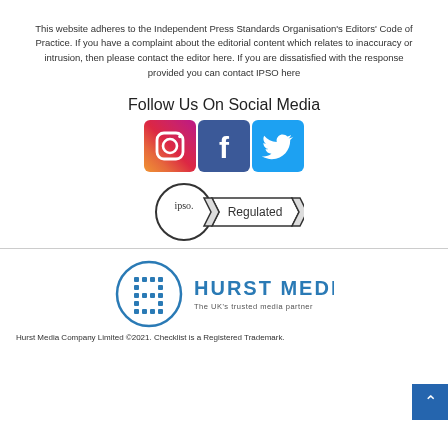This website adheres to the Independent Press Standards Organisation's Editors' Code of Practice. If you have a complaint about the editorial content which relates to inaccuracy or intrusion, then please contact the editor here. If you are dissatisfied with the response provided you can contact IPSO here
Follow Us On Social Media
[Figure (logo): Social media icons: Instagram, Facebook, Twitter]
[Figure (logo): IPSO Regulated badge - circular logo with ribbon banner]
[Figure (logo): Hurst Media logo - blue grid H icon with HURST MEDIA text and tagline 'The UK's trusted media partner']
Hurst Media Company Limited ©2021. Checklist is a Registered Trademark.